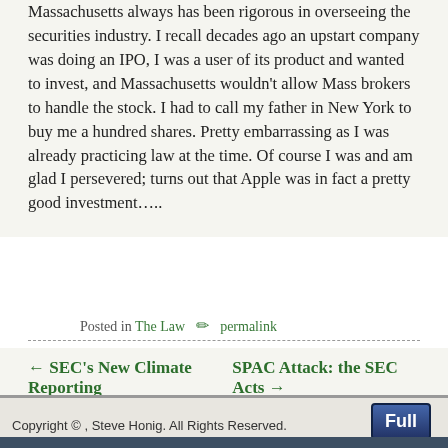Massachusetts always has been rigorous in overseeing the securities industry. I recall decades ago an upstart company was doing an IPO, I was a user of its product and wanted to invest, and Massachusetts wouldn't allow Mass brokers to handle the stock. I had to call my father in New York to buy me a hundred shares. Pretty embarrassing as I was already practicing law at the time. Of course I was and am glad I persevered; turns out that Apple was in fact a pretty good investment…..
Posted in The Law permalink
← SEC's New Climate Reporting    SPAC Attack: the SEC Acts →
Copyright © , Steve Honig. All Rights Reserved.
Stephen Honig at Duane Morris LLP
100 High Street
Suite 2400
Boston, MA 02210
Privacy Policy | Disclaimer